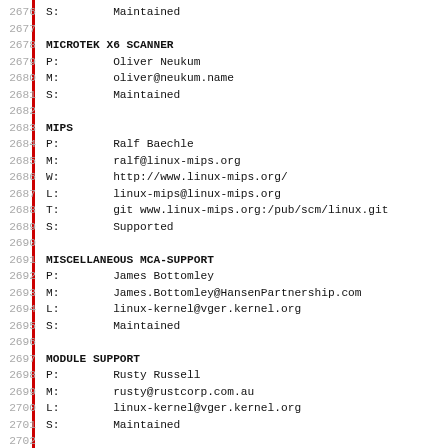2676 S:        Maintained
2677
2678 MICROTEK X6 SCANNER
2679 P:        Oliver Neukum
2680 M:        oliver@neukum.name
2681 S:        Maintained
2682
2683 MIPS
2684 P:        Ralf Baechle
2685 M:        ralf@linux-mips.org
2686 W:        http://www.linux-mips.org/
2687 L:        linux-mips@linux-mips.org
2688 T:        git www.linux-mips.org:/pub/scm/linux.git
2689 S:        Supported
2690
2691 MISCELLANEOUS MCA-SUPPORT
2692 P:        James Bottomley
2693 M:        James.Bottomley@HansenPartnership.com
2694 L:        linux-kernel@vger.kernel.org
2695 S:        Maintained
2696
2697 MODULE SUPPORT
2698 P:        Rusty Russell
2699 M:        rusty@rustcorp.com.au
2700 L:        linux-kernel@vger.kernel.org
2701 S:        Maintained
2702
2703 MOTION EYE VAIO PICTUREBOOK CAMERA DRIVER
2704 P:        Stelian Pop
2705 M:        stelian@popies.net
2706 W:        http://popies.net/meye/
2707 S:        Maintained